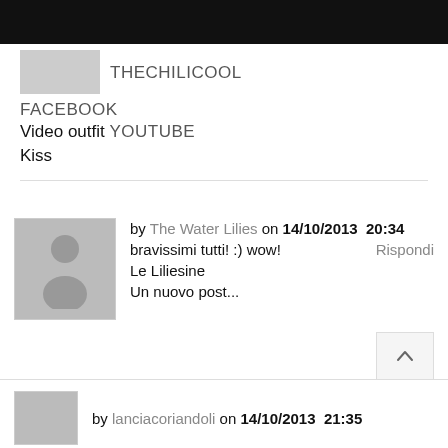[Figure (other): Black top bar / navigation bar]
THECHILICOOL
FACEBOOK
Video outfit YOUTUBE
Kiss
[Figure (photo): User avatar placeholder (grey silhouette) for The Water Lilies comment]
by The Water Lilies on 14/10/2013  20:34
bravissimi tutti! :) wow!
Rispondi
Le Liliesine
Un nuovo post...
http://saramustone.wordpress.com/2013/10/14/5w/
The Water Lilies F&L Blog
[Figure (photo): User avatar placeholder (grey silhouette) for lanciacoriandoli comment]
by lanciacoriandoli on 14/10/2013  21:35